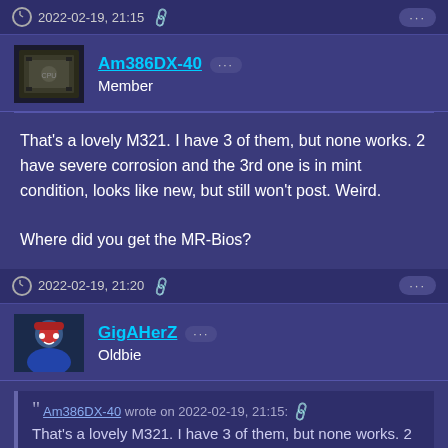2022-02-19, 21:15 [link icon]
[Figure (photo): Forum user avatar for Am386DX-40, showing a computer chip/CPU image]
Am386DX-40 ··· Member
That's a lovely M321. I have 3 of them, but none works. 2 have severe corrosion and the 3rd one is in mint condition, looks like new, but still won't post. Weird.

Where did you get the MR-Bios?
2022-02-19, 21:20 [link icon] ···
[Figure (photo): Forum user avatar for GigAHerZ, showing an anime-style character with red hair and a hat]
GigAHerZ ··· Oldbie
" Am386DX-40 wrote on 2022-02-19, 21:15: [link]
That's a lovely M321. I have 3 of them, but none works. 2 have severe corrosion and the 3rd one is in mint condition,